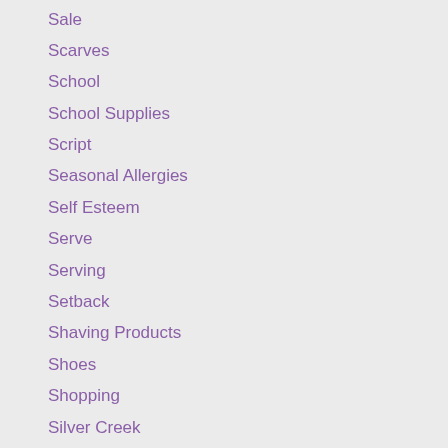Sale
Scarves
School
School Supplies
Script
Seasonal Allergies
Self Esteem
Serve
Serving
Setback
Shaving Products
Shoes
Shopping
Silver Creek
Sinus
Sleep
Sleeping Baby
Slings
Smile